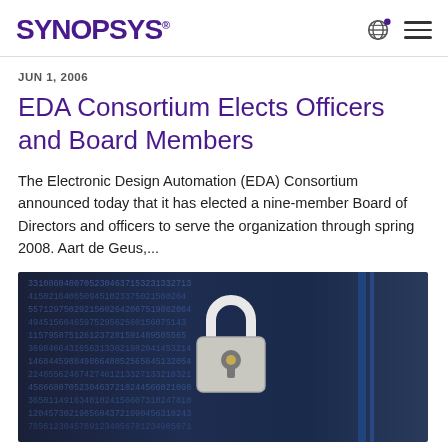SYNOPSYS®
JUN 1, 2006
EDA Consortium Elects Officers and Board Members
The Electronic Design Automation (EDA) Consortium announced today that it has elected a nine-member Board of Directors and officers to serve the organization through spring 2008. Aart de Geus,...
[Figure (photo): Photo showing a padlock overlaid on a background of binary/digital code numbers, representing cybersecurity or data security concept.]